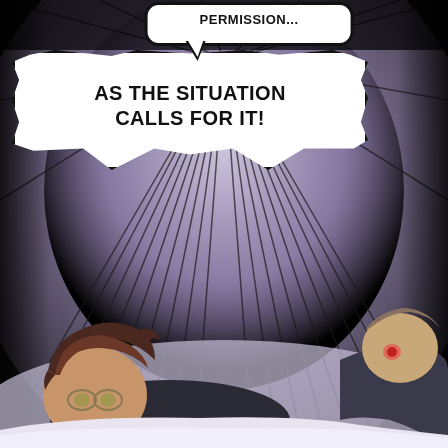[Figure (illustration): Manga/webtoon panel. Dark background with radial speed lines emanating from center. Two speech bubbles at top: small one reading 'PERMISSION...' and large jagged one reading 'AS THE SITUATION CALLS FOR IT!'. Bottom half shows two anime characters lying down — one with dark brown hair and glasses in the foreground, another figure partially visible on the right.]
PERMISSION...
AS THE SITUATION CALLS FOR IT!